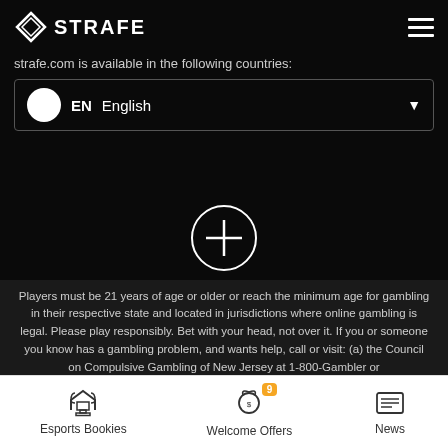STRAFE
strafe.com is available in the following countries:
EN  English
[Figure (infographic): Circle with plus sign button]
Players must be 21 years of age or older or reach the minimum age for gambling in their respective state and located in jurisdictions where online gambling is legal. Please play responsibly. Bet with your head, not over it. If you or someone you know has a gambling problem, and wants help, call or visit: (a) the Council on Compulsive Gambling of New Jersey at 1-800-Gambler or www.800gambler.org; or (b) Gamblers Anonymous at 855-2-CALL-GA or www.gamblersanonymous.org.
BetRivers.com Sports Bonus
100% up to $250
Esports Bookies  Welcome Offers  News